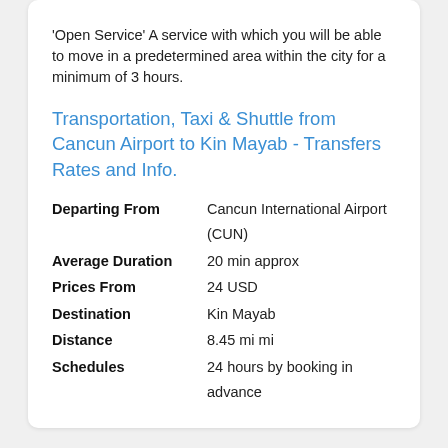'Open Service' A service with which you will be able to move in a predetermined area within the city for a minimum of 3 hours.
Transportation, Taxi & Shuttle from Cancun Airport to Kin Mayab - Transfers Rates and Info.
Departing From: Cancun International Airport (CUN)
Average Duration: 20 min approx
Prices From: 24 USD
Destination: Kin Mayab
Distance: 8.45 mi mi
Schedules: 24 hours by booking in advance
Our Clients
Reviews